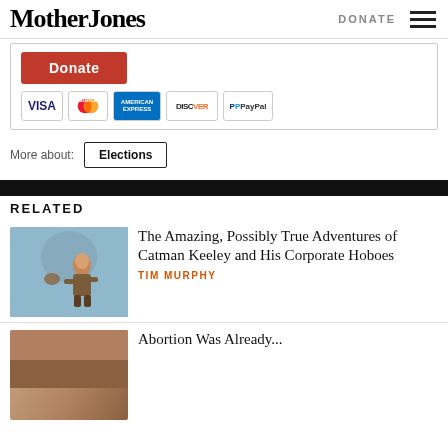Mother Jones | DONATE
[Figure (screenshot): Donate button (orange/red) and payment method icons: VISA, MasterCard, American Express, Discover, PayPal]
More about: Elections
RELATED
The Amazing, Possibly True Adventures of Catman Keeley and His Corporate Hoboes
TIM MURPHY
Abortion Was Already...